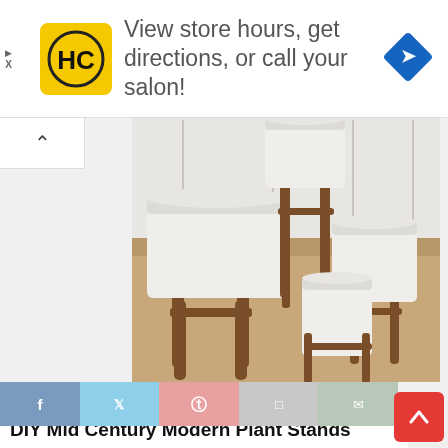[Figure (screenshot): Advertisement banner: HC logo (yellow square with black HC text), text 'View store hours, get directions, or call your salon!', blue navigation diamond icon on right]
[Figure (photo): Three white cylindrical plant pots on mid-century modern wooden stands of varying heights, arranged on a beige carpet in front of white cabinetry]
[Figure (screenshot): Social sharing bar with Facebook, Twitter, Pinterest, email/save, and mail icons]
DIY Mid Century Modern Plant Stands